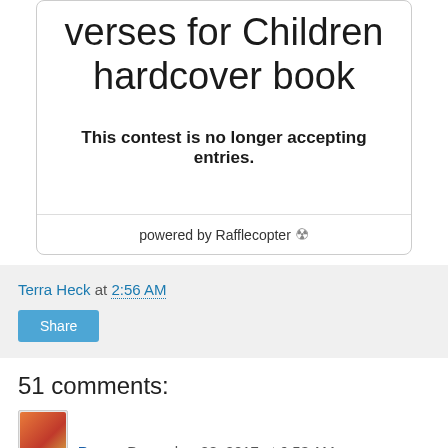verses for Children hardcover book
This contest is no longer accepting entries.
powered by Rafflecopter
Terra Heck at 2:56 AM
Share
51 comments:
Peggy December 28, 2017 at 6:53 AM